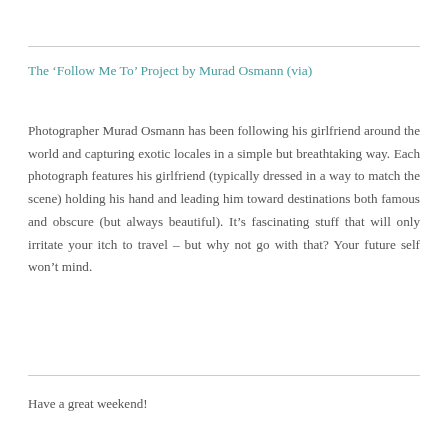The ‘Follow Me To’ Project by Murad Osmann (via)
Photographer Murad Osmann has been following his girlfriend around the world and capturing exotic locales in a simple but breathtaking way. Each photograph features his girlfriend (typically dressed in a way to match the scene) holding his hand and leading him toward destinations both famous and obscure (but always beautiful). It’s fascinating stuff that will only irritate your itch to travel – but why not go with that? Your future self won’t mind.
Have a great weekend!